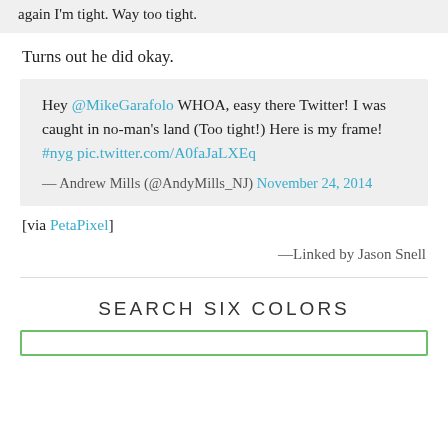again I'm tight. Way too tight.
Turns out he did okay.
Hey @MikeGarafolo WHOA, easy there Twitter! I was caught in no-man's land (Too tight!) Here is my frame! #nyg pic.twitter.com/A0faJaLXEq
— Andrew Mills (@AndyMills_NJ) November 24, 2014
[via PetaPixel]
—Linked by Jason Snell
SEARCH SIX COLORS